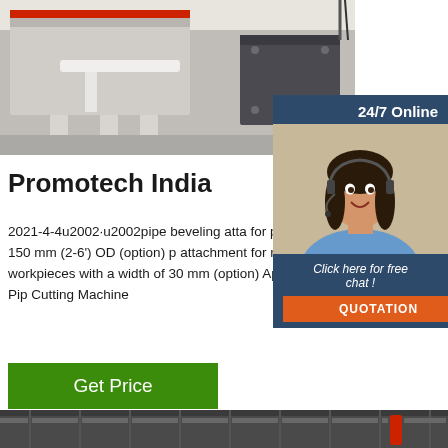[Figure (photo): Industrial pipe beveling/cutting machine on workshop floor, gray concrete background]
[Figure (photo): Customer service agent widget - woman with headset smiling, 24/7 Online chat support banner with quotation button]
Promotech India
2021-4-4u2002·u2002pipe beveling attachment for pipes 50-150 mm (2-6') OD (option) pipe attachment for narrow workpieces with a width of 30 mm (option) April 4, 2021 Pipe Cutting Machine
[Figure (other): Green Get Price button]
[Figure (photo): Industrial warehouse interior, ceiling with red pipe visible at bottom of page]